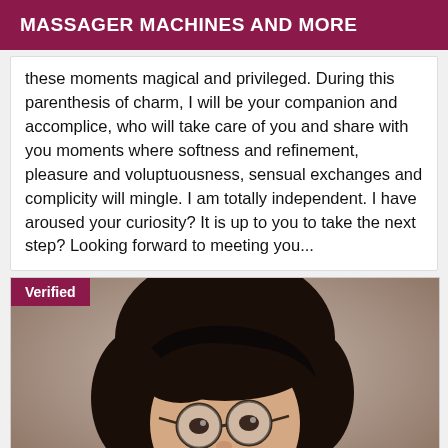MASSAGER MACHINES AND MORE
these moments magical and privileged. During this parenthesis of charm, I will be your companion and accomplice, who will take care of you and share with you moments where softness and refinement, pleasure and voluptuousness, sensual exchanges and complicity will mingle. I am totally independent. I have aroused your curiosity? It is up to you to take the next step? Looking forward to meeting you...
[Figure (photo): A person with short dark hair and round glasses taking a selfie, with a 'Verified' badge overlay in the top-left corner.]